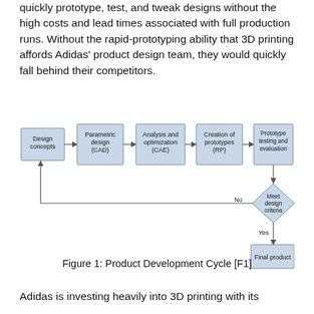quickly prototype, test, and tweak designs without the high costs and lead times associated with full production runs. Without the rapid-prototyping ability that 3D printing affords Adidas' product design team, they would quickly fall behind their competitors.
[Figure (flowchart): Product Development Cycle flowchart showing: Design concepts -> Parametric design (CAD) -> Analysis and optimization (CAE) -> Creation of prototypes (RP) -> Prototype testing and evaluation -> Meet design criteria (diamond). If No, loop back to Design concepts. If Yes, proceed to Final product.]
Figure 1: Product Development Cycle [F1]
Adidas is investing heavily into 3D printing with its